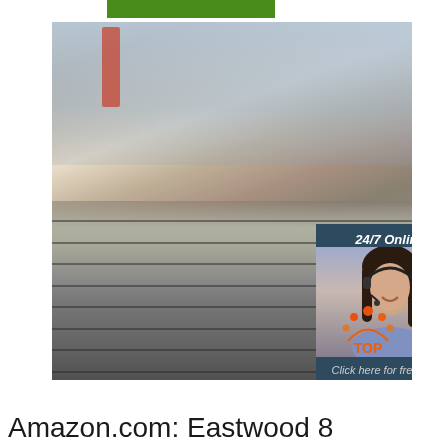[Figure (photo): Steel plates stacked in a warehouse/industrial facility, with a red ladder visible in the background and large windows. An overlay chat widget shows '24/7 Online' with a woman wearing a headset, and a QUOTATION button.]
Amazon.com: Eastwood 8